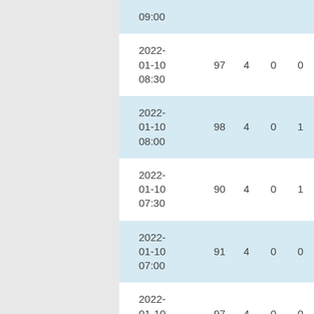| datetime | col1 | col2 | col3 | col4 |
| --- | --- | --- | --- | --- |
| 2022-01-10 09:00 |  |  |  |  |
| 2022-01-10 08:30 | 97 | 4 | 0 | 0 |
| 2022-01-10 08:00 | 98 | 4 | 0 | 1 |
| 2022-01-10 07:30 | 90 | 4 | 0 | 1 |
| 2022-01-10 07:00 | 91 | 4 | 0 | 0 |
| 2022-01-10 06:30 | 97 | 4 | 0 | 0 |
| 2022-01-10 (cut off) | 98 | 4 | 0 | 0 |